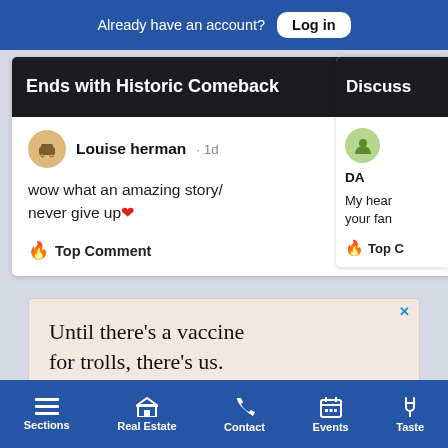Already have an account? Log in
[Figure (screenshot): Article card with dark header image showing text 'Ends with Historic Comeback']
Louise herman · 1d
wow what an amazing story/ never give up ❤
🔥 Top Comment
[Figure (screenshot): Second article card (partially visible) with dark header showing 'Discuss' and user 'DA' with text 'My hear your fan' and Top Comment label]
[Figure (screenshot): Advertisement banner: 'Until there’s a vaccine for trolls, there’s us.']
Sections   Real Estate   Contact   Events   Taste